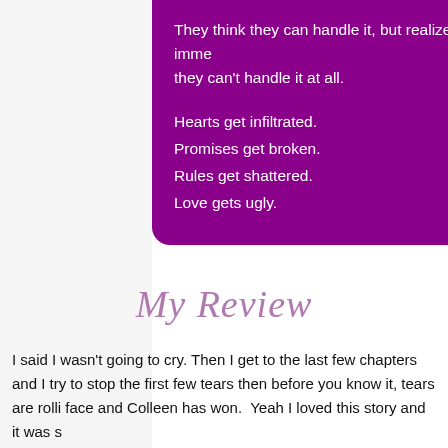They think they can handle it, but realize almost immediately they can't handle it at all.
Hearts get infiltrated.
Promises get broken.
Rules get shattered.
Love gets ugly.
My Review
I said I wasn't going to cry. Then I get to the last few chapters and I try to stop the first few tears then before you know it, tears are rolling down my face and Colleen has won.  Yeah I loved this story and it was s
I went into this story completely unspoiled (which is a miracle considering how popular this books was).  I also went into it not knowing what it was about, just it's new adult and I wanted to read it a went into it this way.  It's funny like within the first few chapt